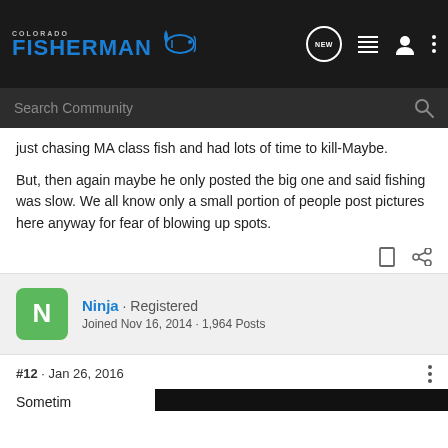Colorado Fisherman
just chasing MA class fish and had lots of time to kill-Maybe.
But, then again maybe he only posted the big one and said fishing was slow. We all know only a small portion of people post pictures here anyway for fear of blowing up spots.
Ninja · Registered
Joined Nov 16, 2014 · 1,964 Posts
#12 · Jan 26, 2016
Sometim
[Figure (screenshot): Advertisement for Glock Optic Ready Slimline MOS pistol with Find a Dealer call to action]